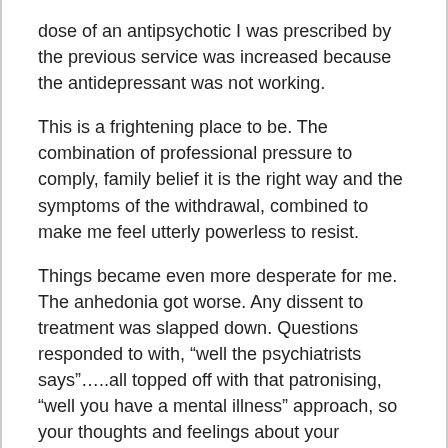dose of an antipsychotic I was prescribed by the previous service was increased because the antidepressant was not working.
This is a frightening place to be. The combination of professional pressure to comply, family belief it is the right way and the symptoms of the withdrawal, combined to make me feel utterly powerless to resist.
Things became even more desperate for me. The anhedonia got worse. Any dissent to treatment was slapped down. Questions responded to with, “well the psychiatrists says”…..all topped off with that patronising, “well you have a mental illness” approach, so your thoughts and feelings about your treatment are bound to be irrational. More often than not this was delivered with a stern look of disapproval, which when in a precariously difficult and very negative emotional state was difficult to